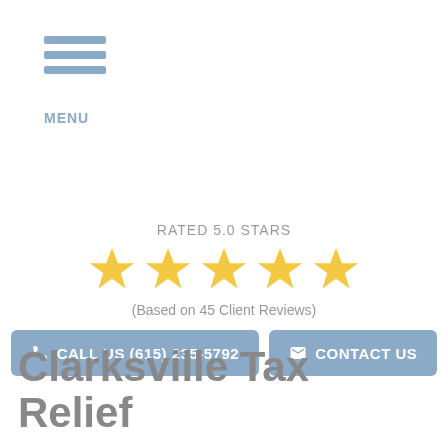[Figure (other): Hamburger menu icon with three horizontal blue-gray bars and MENU label below]
RATED 5.0 STARS
[Figure (other): Five golden star rating icons]
(Based on 45 Client Reviews)
[Figure (other): Two blue-gray buttons: CALL US (615) 235-5792 with phone icon, and CONTACT US with envelope icon]
Clarksville Tax Relief